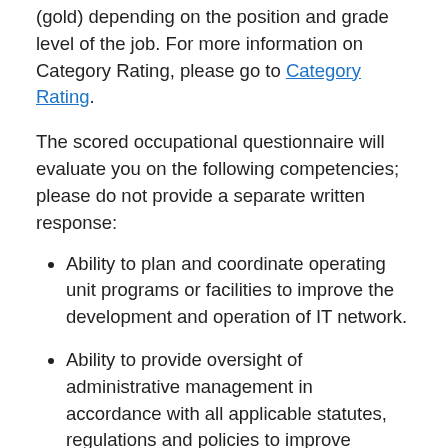(gold) depending on the position and grade level of the job. For more information on Category Rating, please go to Category Rating.
The scored occupational questionnaire will evaluate you on the following competencies; please do not provide a separate written response:
Ability to plan and coordinate operating unit programs or facilities to improve the development and operation of IT network.
Ability to provide oversight of administrative management in accordance with all applicable statutes, regulations and policies to improve operations.
Ability to provide life-cycle management guidance for major information systems activities; reviews and provides guidance on investments in